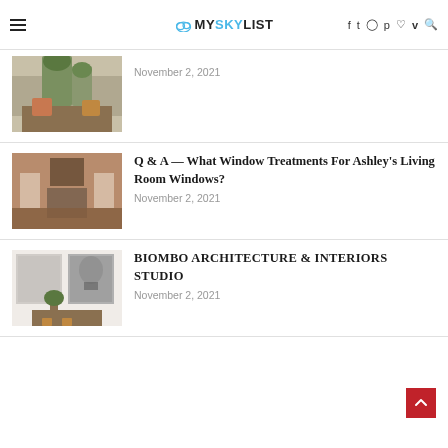MYSKYLIST
[Figure (photo): Room with plants on a wooden shelf, partial view cut off at top]
November 2, 2021
[Figure (photo): Interior living room with windows and fireplace, warm toned]
Q & A — What Window Treatments For Ashley's Living Room Windows?
November 2, 2021
[Figure (photo): Wall art with black and white photos and a plant on wooden shelf]
BIOMBO ARCHITECTURE & INTERIORS STUDIO
November 2, 2021